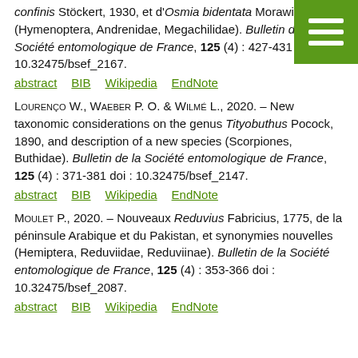confinis Stöckert, 1930, et d'Osmia bidentata Morawitz, 1876 (Hymenoptera, Andrenidae, Megachilidae). Bulletin de la Société entomologique de France, 125 (4) : 427-431 doi 10.32475/bsef_2167.
abstract   BIB   Wikipedia   EndNote
Lourenço W., Waeber P. O. & Wilmé L., 2020. – New taxonomic considerations on the genus Tityobuthus Pocock, 1890, and description of a new species (Scorpiones, Buthidae). Bulletin de la Société entomologique de France, 125 (4) : 371-381 doi : 10.32475/bsef_2147.
abstract   BIB   Wikipedia   EndNote
Moulet P., 2020. – Nouveaux Reduvius Fabricius, 1775, de la péninsule Arabique et du Pakistan, et synonymies nouvelles (Hemiptera, Reduviidae, Reduviinae). Bulletin de la Société entomologique de France, 125 (4) : 353-366 doi : 10.32475/bsef_2087.
abstract   BIB   Wikipedia   EndNote